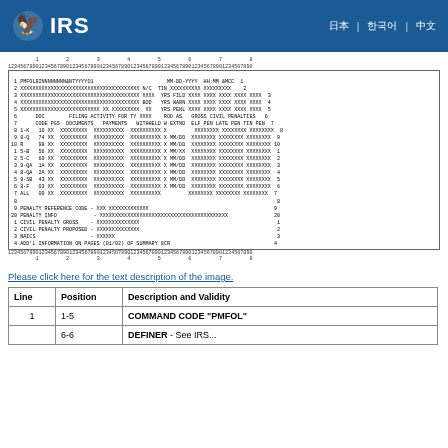IRS logo and navigation header
[Figure (other): IRS tax form display showing PMFOL command code output with column rulers and data rows including penalty reference codes and civil penalty information]
Please click here for the text description of the image.
| Line | Position | Description and Validity |
| --- | --- | --- |
| 1 | 1-5 | COMMAND CODE "PMFOL" |
|  | 6-6 | DEFINER - See IRS... |